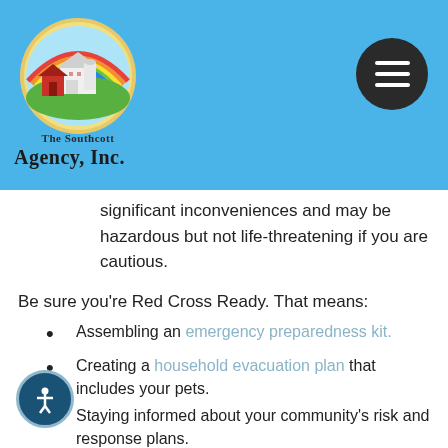[Figure (logo): The Southcott Agency, Inc. logo — circular emblem with a farm barn scene and rainbow, with text 'Agency, Inc.' below]
significant inconveniences and may be hazardous but not life-threatening if you are cautious.
Be sure you're Red Cross Ready. That means:
Assembling an emergency preparedness kit.
Creating a household evacuation plan that includes your pets.
Staying informed about your community's risk and response plans.
Educating your family on how to use the Safe and Well website.